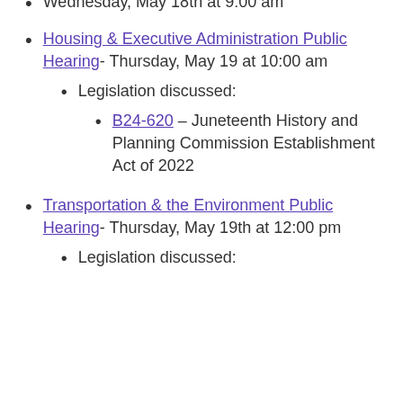Wednesday, May 18th at 9:00 am
Housing & Executive Administration Public Hearing- Thursday, May 19 at 10:00 am
Legislation discussed:
B24-620 – Juneteenth History and Planning Commission Establishment Act of 2022
Transportation & the Environment Public Hearing- Thursday, May 19th at 12:00 pm
Legislation discussed: